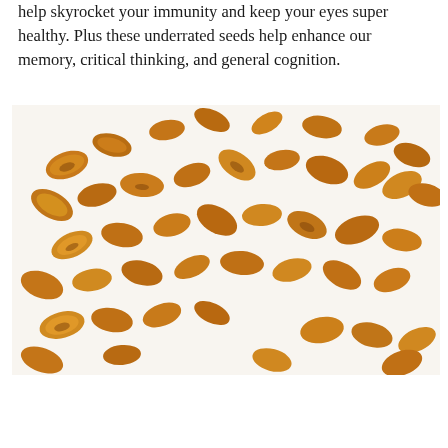help skyrocket your immunity and keep your eyes super healthy. Plus these underrated seeds help enhance our memory, critical thinking, and general cognition.
[Figure (photo): A photograph of many roasted pumpkin seeds scattered across a white background, showing golden-brown shells with varied shapes and sizes.]